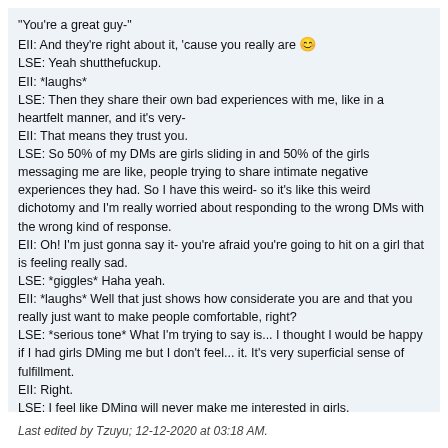"You're a great guy-"
EII: And they're right about it, 'cause you really are 😊
LSE: Yeah shutthefuckup.
EII: *laughs*
LSE: Then they share their own bad experiences with me, like in a heartfelt manner, and it's very-
EII: That means they trust you.
LSE: So 50% of my DMs are girls sliding in and 50% of the girls messaging me are like, people trying to share intimate negative experiences they had. So I have this weird- so it's like this weird dichotomy and I'm really worried about responding to the wrong DMs with the wrong kind of response.
EII: Oh! I'm just gonna say it- you're afraid you're going to hit on a girl that is feeling really sad.
LSE: *giggles* Haha yeah.
EII: *laughs* Well that just shows how considerate you are and that you really just want to make people comfortable, right?
LSE: *serious tone* What I'm trying to say is... I thought I would be happy if I had girls DMing me but I don't feel... it. It's very superficial sense of fulfillment.
EII: Right.
LSE: I feel like DMing will never make me interested in girls.
EII: You heard it here first! *jokingly* Don't DM LSE or it's over.
Last edited by Tzuyu; 12-12-2020 at 03:18 AM.